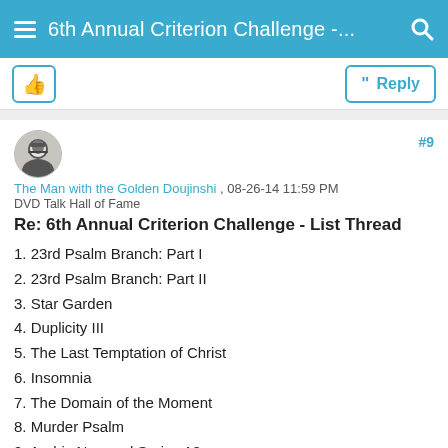6th Annual Criterion Challenge -...
username: The Man with the Golden Doujinshi, date: 08-26-14 11:59 PM, role: DVD Talk Hall of Fame, post number: #9
Re: 6th Annual Criterion Challenge - List Thread
1. 23rd Psalm Branch: Part I
2. 23rd Psalm Branch: Part II
3. Star Garden
4. Duplicity III
5. The Last Temptation of Christ
6. Insomnia
7. The Domain of the Moment
8. Murder Psalm
9. Arabic Numeral Series 12
10. Visions in Meditation #1
11. Visions in Meditation #2: Mesa Verde